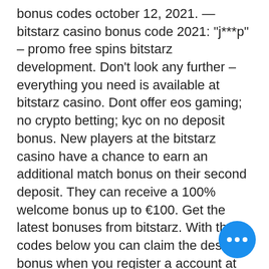bonus codes october 12, 2021. — bitstarz casino bonus code 2021: “j***p” – promo free spins bitstarz development. Don't look any further – everything you need is available at bitstarz casino. Dont offer eos gaming; no crypto betting; kyc on no deposit bonus. New players at the bitstarz casino have a chance to earn an additional match bonus on their second deposit. They can receive a 100% welcome bonus up to €100. Get the latest bonuses from bitstarz. With the codes below you can claim the desired bonus when you register a account at the casino. 2nd deposit bonus – 50% match bonus up to €100 or 1 btc. 3rd deposit bonus – 50% match bonus up to €100 or 2 btc · 4th
To get your earnings in the game, you need to trade BitCrystals in the exchange for the token you need, bitstarz bonus. Genre: RPG Platform: browser Payment Methods: CoinBrawl is a unique RPG game which will appeal to players who enjoy fighting.